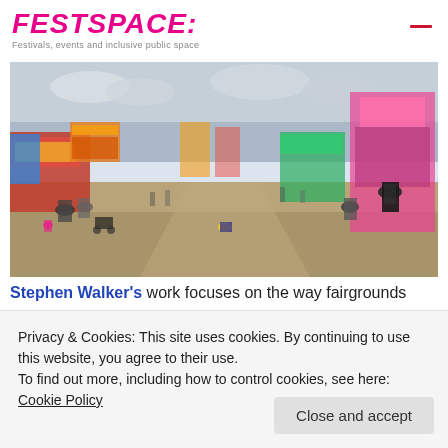FESTSPACE: Festivals, events and inclusive public space
[Figure (photo): Outdoor fairground scene with crowds of people walking along a wide path between carnival rides and stalls, overcast sky, grassy/dirt ground.]
Stephen Walker's work focuses on the way fairgrounds
Privacy & Cookies: This site uses cookies. By continuing to use this website, you agree to their use.
To find out more, including how to control cookies, see here: Cookie Policy
Close and accept